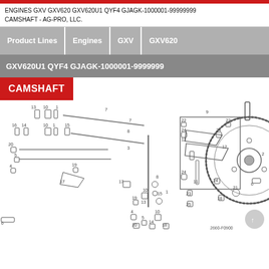ENGINES GXV GXV620 GXV620U1 QYF4 GJAGK-1000001-99999999
CAMSHAFT - AG-PRO, LLC.
Product Lines | Engines | GXV | GXV620
GXV620U1 QYF4 GJAGK-1000001-9999999
CAMSHAFT
[Figure (engineering-diagram): Exploded parts diagram of a Honda GXV620 engine camshaft assembly showing numbered components including valves, springs, camshaft gear, rocker arms, and related hardware. Part numbers 1-25 are labeled throughout the diagram. Reference code: 2660-F0900.]